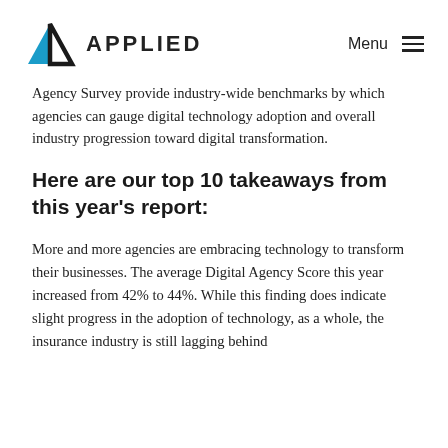APPLIED  Menu
Agency Survey provide industry-wide benchmarks by which agencies can gauge digital technology adoption and overall industry progression toward digital transformation.
Here are our top 10 takeaways from this year's report:
More and more agencies are embracing technology to transform their businesses. The average Digital Agency Score this year increased from 42% to 44%. While this finding does indicate slight progress in the adoption of technology, as a whole, the insurance industry is still lagging behind